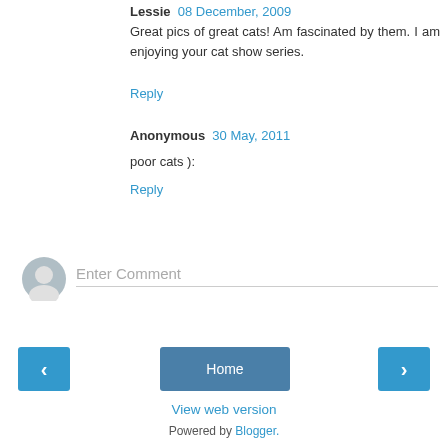Lessie  08 December, 2009
Great pics of great cats! Am fascinated by them. I am enjoying your cat show series.
Reply
Anonymous  30 May, 2011
poor cats ):
Reply
[Figure (other): User avatar placeholder icon — grey silhouette person icon]
Enter Comment
‹
Home
›
View web version
Powered by Blogger.